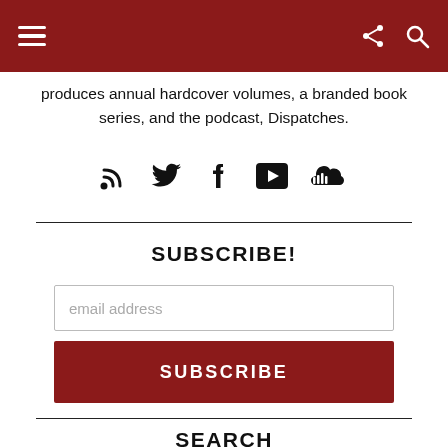produces annual hardcover volumes, a branded book series, and the podcast, Dispatches.
[Figure (other): Social media icons: RSS feed, Twitter, Facebook, YouTube, SoundCloud]
SUBSCRIBE!
email address
SUBSCRIBE
SEARCH